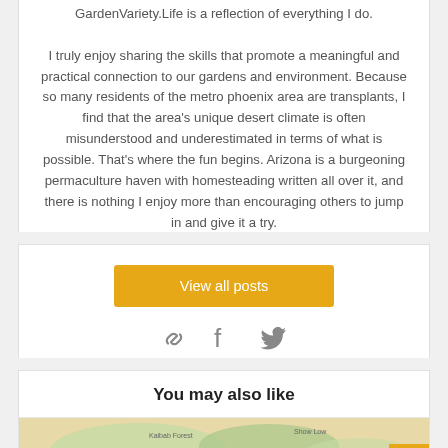GardenVariety.Life is a reflection of everything I do. I truly enjoy sharing the skills that promote a meaningful and practical connection to our gardens and environment. Because so many residents of the metro phoenix area are transplants, I find that the area's unique desert climate is often misunderstood and underestimated in terms of what is possible. That's where the fun begins. Arizona is a burgeoning permaculture haven with homesteading written all over it, and there is nothing I enjoy more than encouraging others to jump in and give it a try.
View all posts
[Figure (other): Social media icons: link, Facebook, Twitter]
You may also like
[Figure (map): Map preview image showing a geographic area]